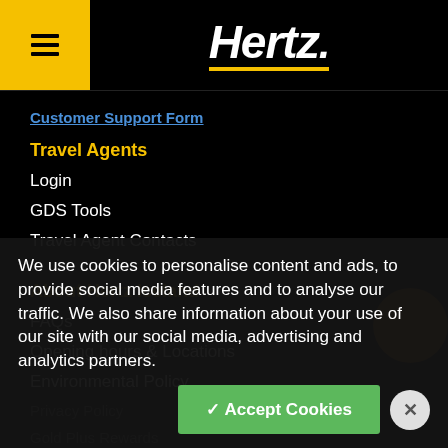Hertz
Customer Support Form
Travel Agents
Login
GDS Tools
Travel Agent Contacts
About Hertz Iceland
FAQs
Opening hours & Locations
Environmental Policy
Privacy Policy
Gold Plus Rewards
Other Hertz Operations
We use cookies to personalise content and ads, to provide social media features and to analyse our traffic. We also share information about your use of our site with our social media, advertising and analytics partners.
✓ Accept Cookies